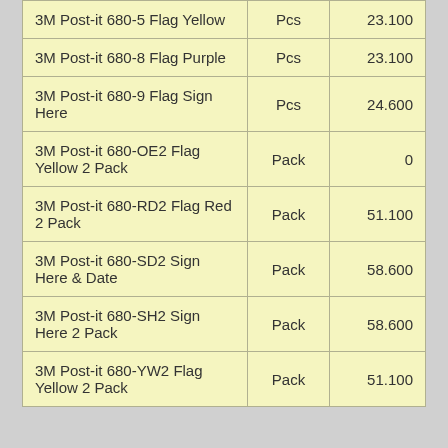| 3M Post-it 680-5 Flag Yellow | Pcs | 23.100 |
| 3M Post-it 680-8 Flag Purple | Pcs | 23.100 |
| 3M Post-it 680-9 Flag Sign Here | Pcs | 24.600 |
| 3M Post-it 680-OE2 Flag Yellow 2 Pack | Pack | 0 |
| 3M Post-it 680-RD2 Flag Red 2 Pack | Pack | 51.100 |
| 3M Post-it 680-SD2 Sign Here & Date | Pack | 58.600 |
| 3M Post-it 680-SH2 Sign Here 2 Pack | Pack | 58.600 |
| 3M Post-it 680-YW2 Flag Yellow 2 Pack | Pack | 51.100 |